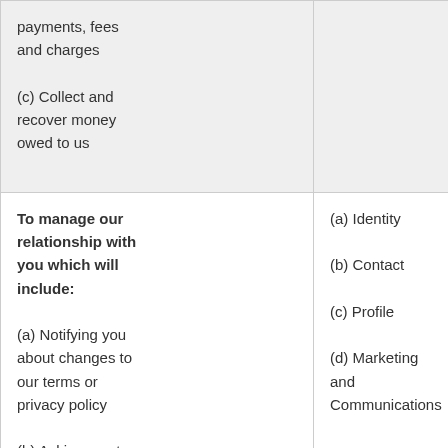| payments, fees and charges

(c) Collect and recover money owed to us |  | place to do so.

(c) Necessary for our legitimate interests (to recover debts due to us) |
| To manage our relationship with you which will include:

(a) Notifying you about changes to our terms or privacy policy

(b) Asking you to | (a) Identity

(b) Contact

(c) Profile

(d) Marketing and Communications | (a) Performance of a contract with you

(b) Necessary to comply with a legal obligation

(c) Necessary for our legitimate interests (to keep |